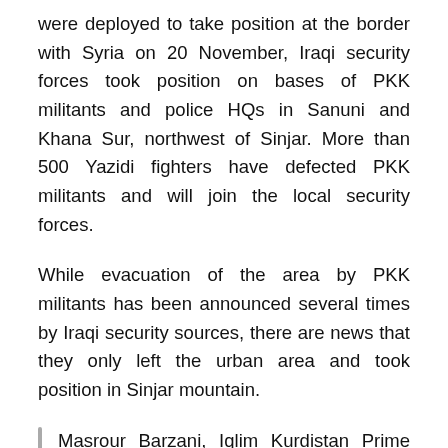were deployed to take position at the border with Syria on 20 November, Iraqi security forces took position on bases of PKK militants and police HQs in Sanuni and Khana Sur, northwest of Sinjar. More than 500 Yazidi fighters have defected PKK militants and will join the local security forces.
While evacuation of the area by PKK militants has been announced several times by Iraqi security sources, there are news that they only left the urban area and took position in Sinjar mountain.
Masrour Barzani, Iqlim Kurdistan Prime Minister, said in this regard: “PKK and its militants have not retreated from Sinjar. They only changed clothes and went to Sinjar mountain for a few hours. They came back later. Their number even increased.”